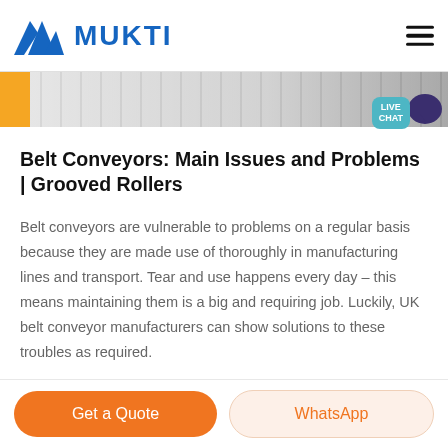[Figure (logo): Mukti logo with blue triangle/mountain icon and bold blue MUKTI text, plus hamburger menu icon on the right]
[Figure (photo): Partial hero image strip showing industrial conveyor equipment, mostly grey gradient with yellow accent bar on left and live chat bubble on right]
Belt Conveyors: Main Issues and Problems | Grooved Rollers
Belt conveyors are vulnerable to problems on a regular basis because they are made use of thoroughly in manufacturing lines and transport. Tear and use happens every day – this means maintaining them is a big and requiring job. Luckily, UK belt conveyor manufacturers can show solutions to these troubles as required.